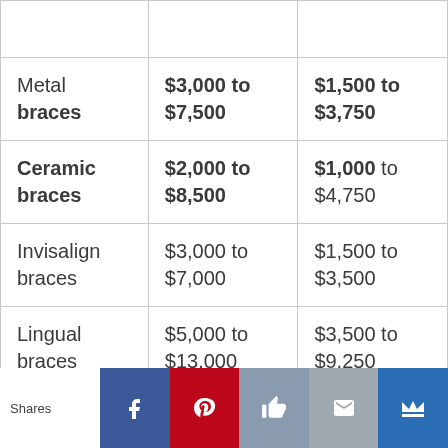| Type | Full Cost | With Insurance |
| --- | --- | --- |
| Metal braces | $3,000 to $7,500 | $1,500 to $3,750 |
| Ceramic braces | $2,000 to $8,500 | $1,000 to $4,750 |
| Invisalign braces | $3,000 to $7,000 | $1,500 to $3,500 |
| Lingual braces | $5,000 to $13,000 | $3,500 to $9,250 |